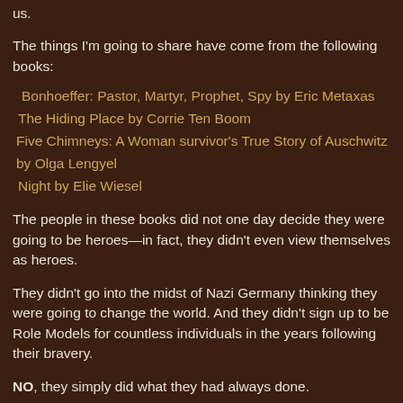us.
The things I'm going to share have come from the following books:
Bonhoeffer: Pastor, Martyr, Prophet, Spy by Eric Metaxas
The Hiding Place by Corrie Ten Boom
Five Chimneys: A Woman survivor's True Story of Auschwitz by Olga Lengyel
Night by Elie Wiesel
The people in these books did not one day decide they were going to be heroes—in fact, they didn't even view themselves as heroes.
They didn't go into the midst of Nazi Germany thinking they were going to change the world. And they didn't sign up to be Role Models for countless individuals in the years following their bravery.
NO, they simply did what they had always done.
They lived a life of character. PERIOD. A simple